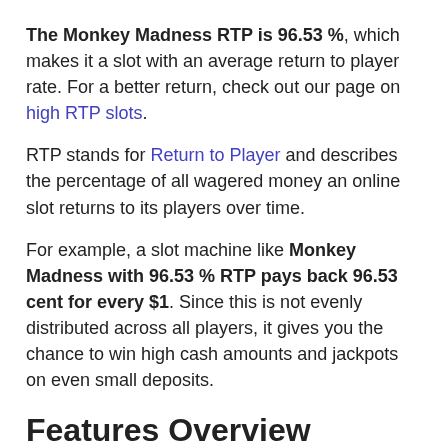The Monkey Madness RTP is 96.53 %, which makes it a slot with an average return to player rate. For a better return, check out our page on high RTP slots.
RTP stands for Return to Player and describes the percentage of all wagered money an online slot returns to its players over time.
For example, a slot machine like Monkey Madness with 96.53 % RTP pays back 96.53 cent for every $1. Since this is not evenly distributed across all players, it gives you the chance to win high cash amounts and jackpots on even small deposits.
Features Overview
Monkey Madness is a 9-payline slot with Wild Symbol. The game does not offer the chance to win free spins in-play. Below is a table of more features and their